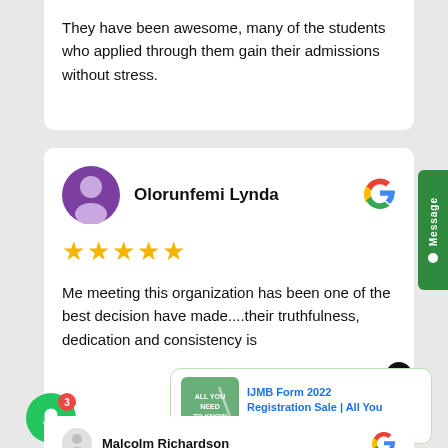They have been awesome, many of the students who applied through them gain their admissions without stress.
Olorunfemi Lynda
★★★★★
Me meeting this organization has been one of the best decision have made....their truthfulness, dedication and consistency is
[Figure (infographic): IJMB Form 2022 Registration Sale notification card with green thumbnail showing 'ALL YOU NEED TO KNOW']
IJMB Form 2022 Registration Sale | All You
12 hours ago
Malcolm Richardson